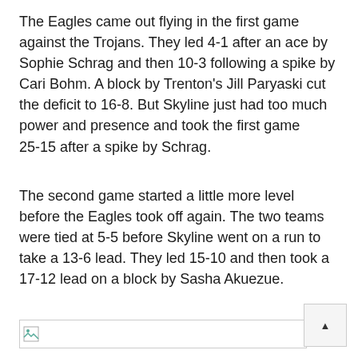The Eagles came out flying in the first game against the Trojans. They led 4-1 after an ace by Sophie Schrag and then 10-3 following a spike by Cari Bohm. A block by Trenton's Jill Paryaski cut the deficit to 16-8. But Skyline just had too much power and presence and took the first game 25-15 after a spike by Schrag.
The second game started a little more level before the Eagles took off again. The two teams were tied at 5-5 before Skyline went on a run to take a 13-6 lead. They led 15-10 and then took a 17-12 lead on a block by Sasha Akuezue.
[Figure (other): Broken image placeholder with small image icon on left side inside a rectangular border]